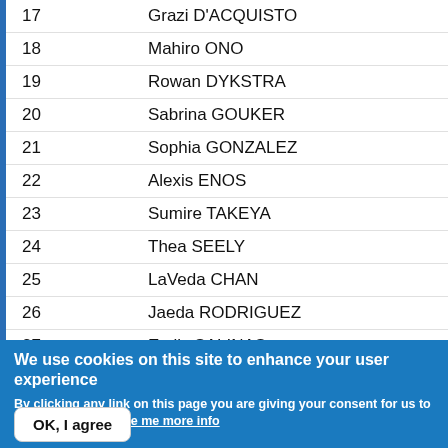| # | Name |
| --- | --- |
| 17 | Grazi D'ACQUISTO |
| 18 | Mahiro ONO |
| 19 | Rowan DYKSTRA |
| 20 | Sabrina GOUKER |
| 21 | Sophia GONZALEZ |
| 22 | Alexis ENOS |
| 23 | Sumire TAKEYA |
| 24 | Thea SEELY |
| 25 | LaVeda CHAN |
| 26 | Jaeda RODRIGUEZ |
| 27 | Emily SALINAS |
| 28 | Nahtalei ASCENCIO |
We use cookies on this site to enhance your user experience
By clicking any link on this page you are giving your consent for us to set cookies. No, give me more info
OK, I agree